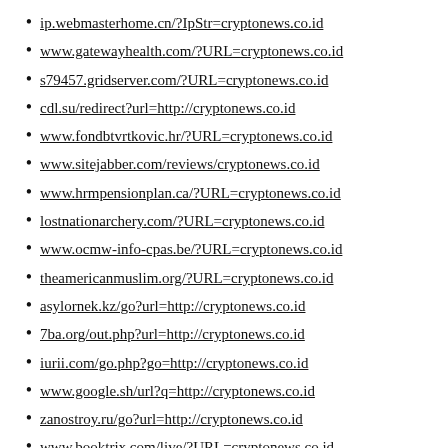ip.webmasterhome.cn/?IpStr=cryptonews.co.id
www.gatewayhealth.com/?URL=cryptonews.co.id
s79457.gridserver.com/?URL=cryptonews.co.id
cdl.su/redirect?url=http://cryptonews.co.id
www.fondbtvrtkovic.hr/?URL=cryptonews.co.id
www.sitejabber.com/reviews/cryptonews.co.id
www.hrmpensionplan.ca/?URL=cryptonews.co.id
lostnationarchery.com/?URL=cryptonews.co.id
www.ocmw-info-cpas.be/?URL=cryptonews.co.id
theamericanmuslim.org/?URL=cryptonews.co.id
asylornek.kz/go?url=http://cryptonews.co.id
7ba.org/out.php?url=http://cryptonews.co.id
iurii.com/go.php?go=http://cryptonews.co.id
www.google.sh/url?q=http://cryptonews.co.id
zanostroy.ru/go?url=http://cryptonews.co.id
www.booktrix.com/live/?URL=cryptonews.co.id
www.promwood.com/de/url/?l=cryptonews.co.id
www.google.ro/url?q=http://cryptonews.co.id
www.google.gr/url?q=http://cryptonews.co.id